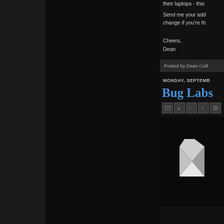their laptops - this
Send me your add
change if you're th
Cheers,
Dean
Posted by Dean Colli
MONDAY, SEPTEMB
Bug Labs
[Figure (logo): Bug Labs logo - white geometric angular bird/bug shape on dark background]